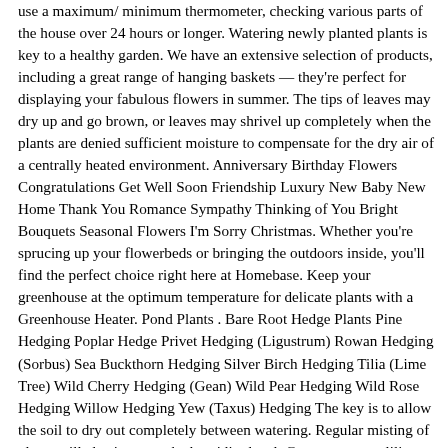use a maximum/ minimum thermometer, checking various parts of the house over 24 hours or longer. Watering newly planted plants is key to a healthy garden. We have an extensive selection of products, including a great range of hanging baskets — they're perfect for displaying your fabulous flowers in summer. The tips of leaves may dry up and go brown, or leaves may shrivel up completely when the plants are denied sufficient moisture to compensate for the dry air of a centrally heated environment. Anniversary Birthday Flowers Congratulations Get Well Soon Friendship Luxury New Baby New Home Thank You Romance Sympathy Thinking of You Bright Bouquets Seasonal Flowers I'm Sorry Christmas. Whether you're sprucing up your flowerbeds or bringing the outdoors inside, you'll find the perfect choice right here at Homebase. Keep your greenhouse at the optimum temperature for delicate plants with a Greenhouse Heater. Pond Plants . Bare Root Hedge Plants Pine Hedging Poplar Hedge Privet Hedging (Ligustrum) Rowan Hedging (Sorbus) Sea Buckthorn Hedging Silver Birch Hedging Tilia (Lime Tree) Wild Cherry Hedging (Gean) Wild Pear Hedging Wild Rose Hedging Willow Hedging Yew (Taxus) Hedging The key is to allow the soil to dry out completely between watering. Regular misting of plants will also increase the humidity level. Gorgeous water lilies, from our extensive range, are the must have deep water pond plants.They will sit floating throughout your pond, while tall iris and other marginal pond plants will make a stunning display at pond edges